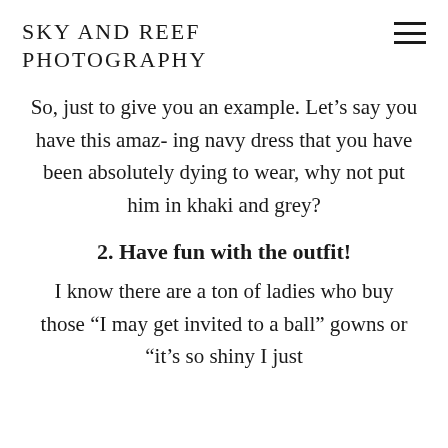SKY AND REEF PHOTOGRAPHY
So, just to give you an example. Let’s say you have this amaz- ing navy dress that you have been absolutely dying to wear, why not put him in khaki and grey?
2. Have fun with the outfit!
I know there are a ton of ladies who buy those “I may get invited to a ball” gowns or “it’s so shiny I just